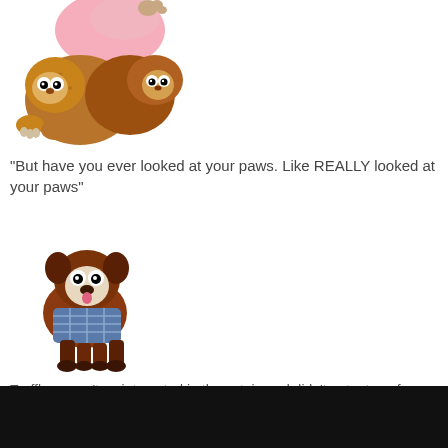[Figure (illustration): Cartoon illustration of two fluffy brown dogs/cats tumbling upside down with a pink fluffy element, pixelated style]
"But have you ever looked at your paws. Like REALLY looked at your paws"
[Figure (illustration): Cartoon illustration of a brown bulldog wearing a plaid outfit, standing and looking dazed, pixelated style]
Truffles wasn't as interested in the catnip and didn't get a ton of effects, but still.